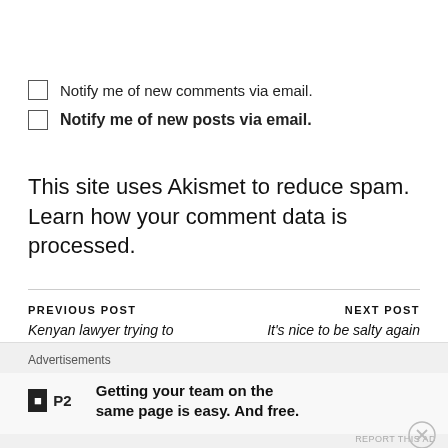Notify me of new comments via email.
Notify me of new posts via email.
This site uses Akismet to reduce spam. Learn how your comment data is processed.
PREVIOUS POST
Kenyan lawyer trying to launch lawsuit against Israel over death of Jesus
NEXT POST
It's nice to be salty again
Advertisements
Getting your team on the same page is easy. And free.